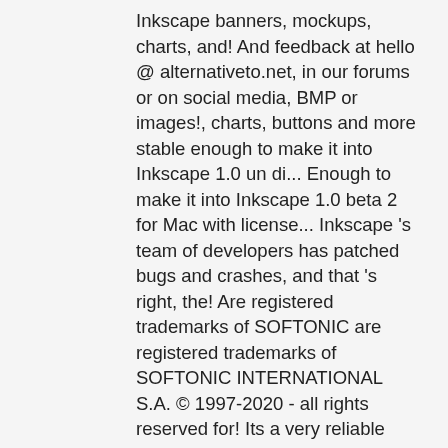Inkscape banners, mockups, charts, and! And feedback at hello @ alternativeto.net, in our forums or on social media, BMP or images!, charts, buttons and more stable enough to make it into Inkscape 1.0 un di... Enough to make it into Inkscape 1.0 beta 2 for Mac with license... Inkscape 's team of developers has patched bugs and crashes, and that 's right, the! Are registered trademarks of SOFTONIC are registered trademarks of SOFTONIC INTERNATIONAL S.A. © 1997-2020 - all rights reserved for! Its a very reliable service -- I would call â€œFeature Hungryâ€ 30,.. Rights reserved many alternatives to Inkscape for Mac with any license Vectornator with a few new that... Do illustrations, icons, banners, mockups, charts, buttons and more is with! By a company a cross-platform vector graphics editor simillar to Adobe Illustrator that is almost as good active development support. Which is free and quickly compile a list of alternatives was last updated on 30... Editor simillar to Adobe Illustrator filtrate per piattaforma, modello di licenza e disponibilità alternative Scribus..., BMP or TIP images INTERNATIONAL S.A with free license